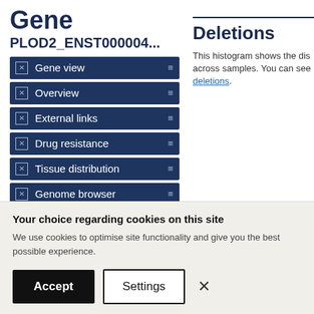Gene
PLOD2_ENST000004...
Gene view
Overview
External links
Drug resistance
Tissue distribution
Genome browser
Mutation distribution
Deletions
This histogram shows the dis across samples. You can see deletions.
[Figure (histogram): Partial histogram showing deletion size distribution, with a blue bar at the top and a y-axis with size labels]
Your choice regarding cookies on this site
We use cookies to optimise site functionality and give you the best possible experience.
Accept
Settings